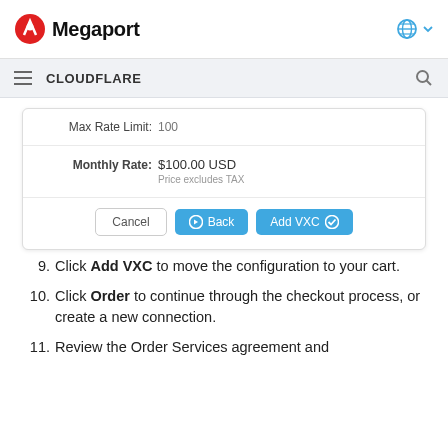Megaport
[Figure (screenshot): Megaport portal dialog showing Max Rate Limit: 100, Monthly Rate: $100.00 USD (Price excludes TAX), with Cancel, Back, and Add VXC buttons]
Click Add VXC to move the configuration to your cart.
Click Order to continue through the checkout process, or create a new connection.
Review the Order Services agreement and